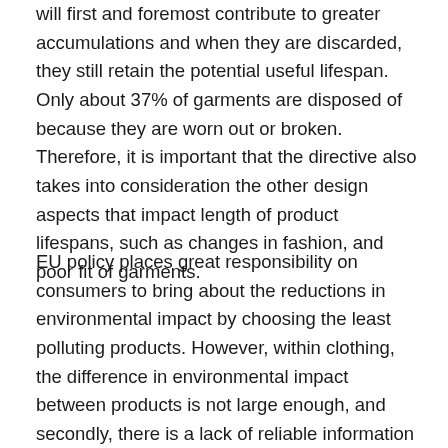will first and foremost contribute to greater accumulations and when they are discarded, they still retain the potential useful lifespan. Only about 37% of garments are disposed of because they are worn out or broken. Therefore, it is important that the directive also takes into consideration the other design aspects that impact length of product lifespans, such as changes in fashion, and poor fit of garments.
EU policy places great responsibility on consumers to bring about the reductions in environmental impact by choosing the least polluting products. However, within clothing, the difference in environmental impact between products is not large enough, and secondly, there is a lack of reliable information available about these differences. There are no «sustainable clothes» – rather there is